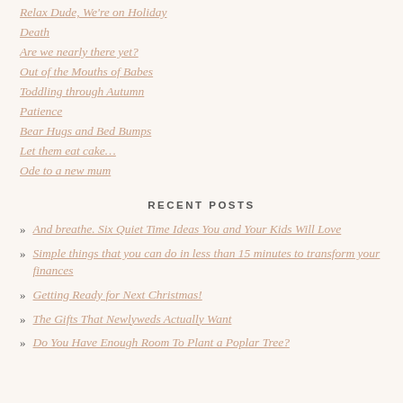Relax Dude, We're on Holiday
Death
Are we nearly there yet?
Out of the Mouths of Babes
Toddling through Autumn
Patience
Bear Hugs and Bed Bumps
Let them eat cake…
Ode to a new mum
RECENT POSTS
And breathe. Six Quiet Time Ideas You and Your Kids Will Love
Simple things that you can do in less than 15 minutes to transform your finances
Getting Ready for Next Christmas!
The Gifts That Newlyweds Actually Want
Do You Have Enough Room To Plant a Poplar Tree?